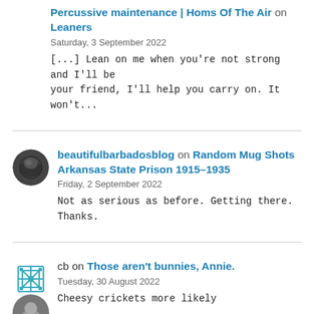Percussive maintenance | Homs Of The Air on Leaners
Saturday, 3 September 2022
[...] Lean on me when you're not strong and I'll be your friend, I'll help you carry on. It won't...
beautifulbarbadosblog on Random Mug Shots Arkansas State Prison 1915-1935
Friday, 2 September 2022
Not as serious as before. Getting there. Thanks.
cb on Those aren't bunnies, Annie.
Tuesday, 30 August 2022
Cheesy crickets more likely